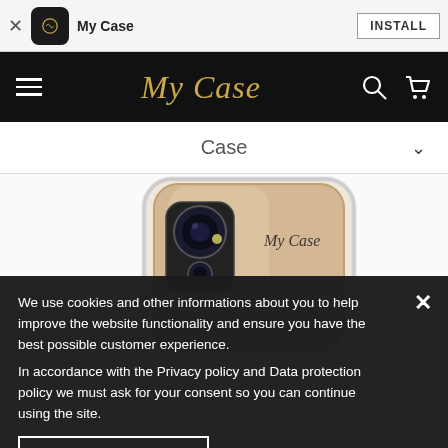My Case — INSTALL banner
[Figure (screenshot): Black navigation bar with hamburger menu, My Case cursive gold logo, search and cart icons]
Case
[Figure (photo): Gold iPhone with transparent My Case branded cover, showing rear camera module]
We use cookies and other informations about you to help improve the website functionality and ensure you have the best possible customer experience.
In accordance with the Privacy policy and Data protection policy we must ask for your consent so you can continue using the site.
I AGREE TO TERMS
FIND OUT MORE